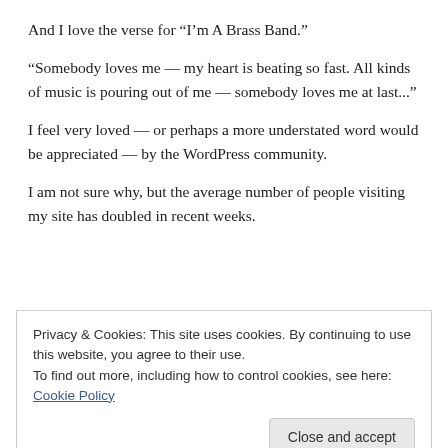And I love the verse for “I’m A Brass Band.”
“Somebody loves me — my heart is beating so fast. All kinds of music is pouring out of me — somebody loves me at last...”
I feel very loved — or perhaps a more understated word would be appreciated — by the WordPress community.
I am not sure why, but the average number of people visiting my site has doubled in recent weeks.
Privacy & Cookies: This site uses cookies. By continuing to use this website, you agree to their use.
To find out more, including how to control cookies, see here: Cookie Policy
Close and accept